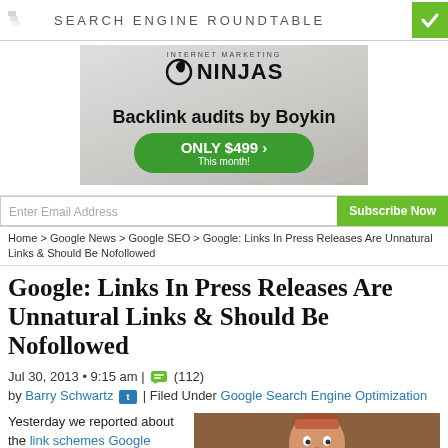SEARCH ENGINE ROUNDTABLE
[Figure (illustration): Internet Marketing Ninjas advertisement banner: Backlink audits by Boykin, ONLY $499 This month!]
Enter Email Address  Subscribe Now
Home > Google News > Google SEO > Google: Links In Press Releases Are Unnatural Links & Should Be Nofollowed
Google: Links In Press Releases Are Unnatural Links & Should Be Nofollowed
Jul 30, 2013 • 9:15 am | (112)
by Barry Schwartz | Filed Under Google Search Engine Optimization
Yesterday we reported about the link schemes Google update and later on I had the opportunity to ask Google's